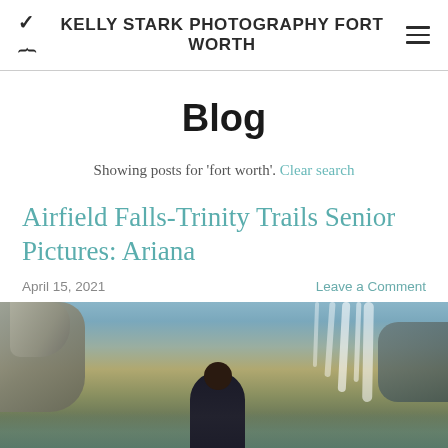KELLY STARK PHOTOGRAPHY FORT WORTH
Blog
Showing posts for 'fort worth'. Clear search
Airfield Falls-Trinity Trails Senior Pictures: Ariana
April 15, 2021    Leave a Comment
[Figure (photo): Young woman standing in front of a waterfall at Airfield Falls-Trinity Trails, with mossy rocks and flowing water]